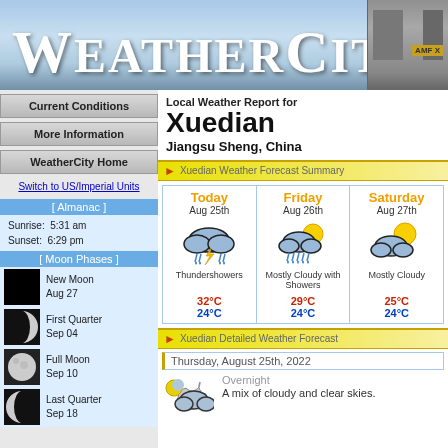WeatherCity
Current Conditions
More Information
WeatherCity Home
Switch to US/Imperial Units
[ Almanac ]
Sunrise: 5:31 am
Sunset: 6:29 pm
[ Moon Phases ]
New Moon
Aug 27
First Quarter
Sep 04
Full Moon
Sep 10
Last Quarter
Sep 18
Local Weather Report for
Xuedian
Jiangsu Sheng, China
Xuedian Weather Forecast Summary
| Today Aug 25th | Friday Aug 26th | Saturday Aug 27th |
| --- | --- | --- |
| Thundershowers | Mostly Cloudy with Showers | Mostly Cloudy |
| 32°C
24°C | 29°C
24°C | 25°C
24°C |
Xuedian Detailed Weather Forecast
Thursday, August 25th, 2022
Overnight
A mix of cloudy and clear skies.